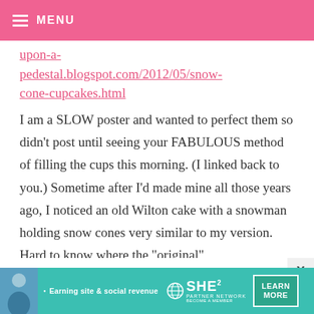MENU
upon-a-pedestal.blogspot.com/2012/05/snow-cone-cupcakes.html
I am a SLOW poster and wanted to perfect them so didn't post until seeing your FABULOUS method of filling the cups this morning. (I linked back to you.) Sometime after I'd made mine all those years ago, I noticed an old Wilton cake with a snowman holding snow cones very similar to my version. Hard to know where the "original"
[Figure (other): Advertisement banner for SHE Media Partner Network: 'Earning site & social revenue' with LEARN MORE button]